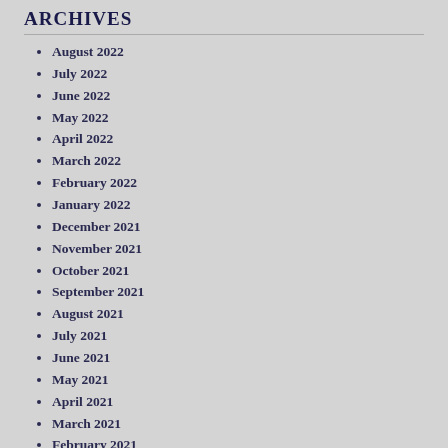ARCHIVES
August 2022
July 2022
June 2022
May 2022
April 2022
March 2022
February 2022
January 2022
December 2021
November 2021
October 2021
September 2021
August 2021
July 2021
June 2021
May 2021
April 2021
March 2021
February 2021
January 2021
December 2020
November 2020
October 2020